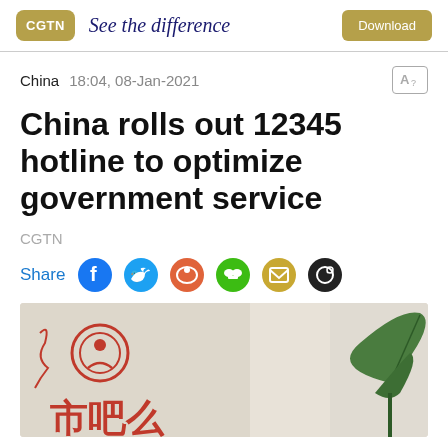CGTN — See the difference | Download
China  18:04, 08-Jan-2021
China rolls out 12345 hotline to optimize government service
CGTN
Share
[Figure (photo): Photo showing a sign with Chinese characters and decorative elements, with a green plant leaf in the foreground]